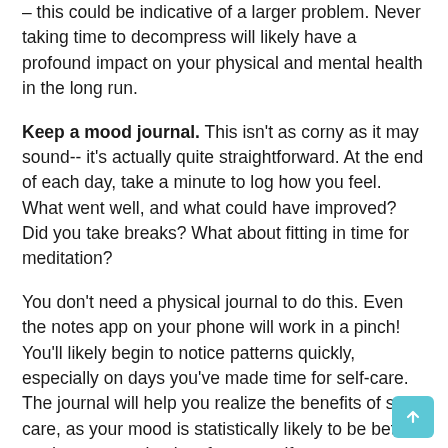– this could be indicative of a larger problem. Never taking time to decompress will likely have a profound impact on your physical and mental health in the long run.
Keep a mood journal. This isn't as corny as it may sound-- it's actually quite straightforward. At the end of each day, take a minute to log how you feel. What went well, and what could have improved? Did you take breaks? What about fitting in time for meditation?
You don't need a physical journal to do this. Even the notes app on your phone will work in a pinch! You'll likely begin to notice patterns quickly, especially on days you've made time for self-care. The journal will help you realize the benefits of self-care, as your mood is statistically likely to be better on days you make time for yourself.